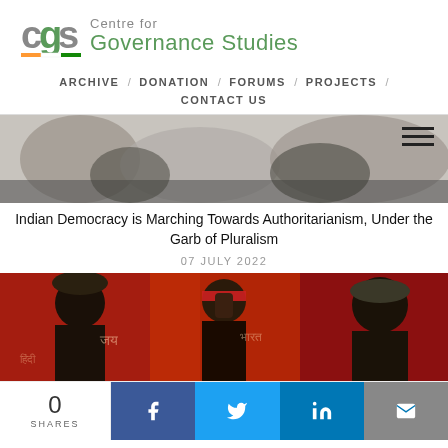[Figure (logo): CGS Centre for Governance Studies logo with green text and Indian flag colors underline]
ARCHIVE / DONATION / FORUMS / PROJECTS / CONTACT US
[Figure (photo): Blurred photo of people, partially visible, with hamburger menu icon overlay]
Indian Democracy is Marching Towards Authoritarianism, Under the Garb of Pluralism
07 JULY 2022
[Figure (photo): Photo of protesters with raised fists, wearing red bandanas, with Hindi text on red banner in background]
0 SHARES | Facebook | Twitter | LinkedIn | Email